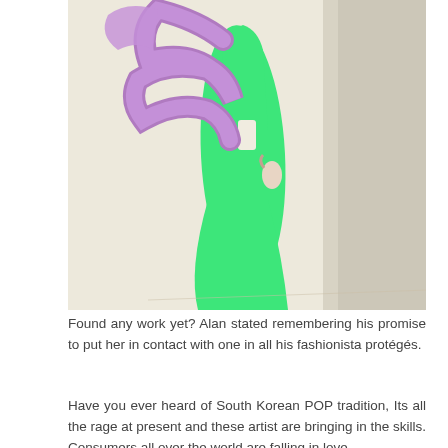[Figure (illustration): Fashion illustration of a figure wearing a bright green flowing dress/gown with a purple/lavender scarf or shawl draped over the shoulders, set against a beige/cream background. The figure is shown in profile, walking.]
Found any work yet? Alan stated remembering his promise to put her in contact with one in all his fashionista protégés.
Have you ever heard of South Korean POP tradition, Its all the rage at present and these artist are bringing in the skills. Consumers all over the world are falling in love